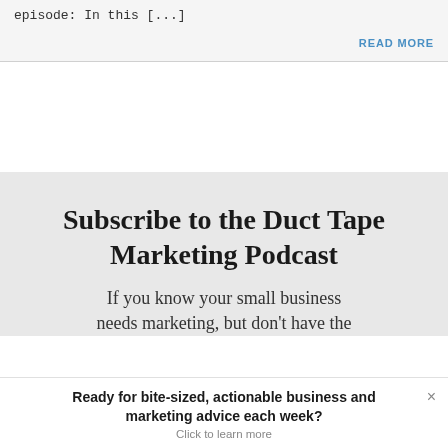episode: In this [...]
READ MORE
Subscribe to the Duct Tape Marketing Podcast
If you know your small business needs marketing, but don't have the
Ready for bite-sized, actionable business and marketing advice each week?
Click to learn more